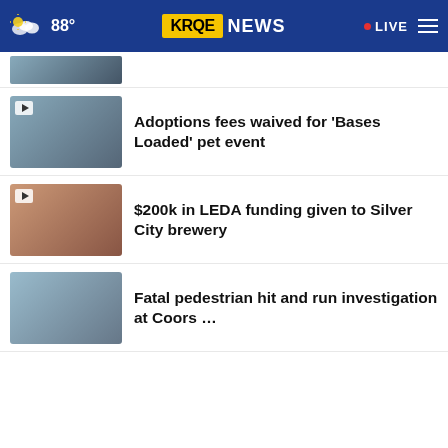88° KRQE NEWS • LIVE
(partial top item)
Adoptions fees waived for 'Bases Loaded' pet event
$200k in LEDA funding given to Silver City brewery
Fatal pedestrian hit and run investigation at Coors …
Roswell awarded thousands to help develop drought …
Bare Knuckle Fighting Championship puts on show for …
Firestone Tire Offer — Virginia Tire & Auto of Ashburn
Albuquerque homicide